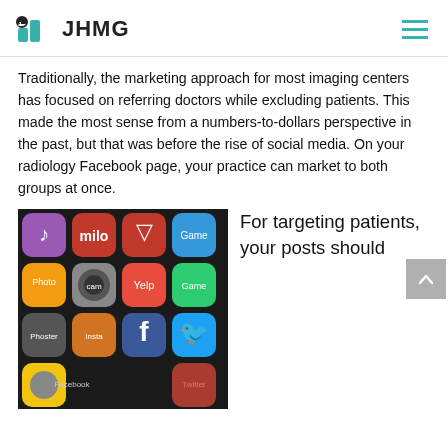JHMG
Traditionally, the marketing approach for most imaging centers has focused on referring doctors while excluding patients. This made the most sense from a numbers-to-dollars perspective in the past, but that was before the rise of social media. On your radiology Facebook page, your practice can market to both groups at once.
[Figure (photo): Close-up photo of a smartphone screen showing various social media and app icons including Facebook, Instagram, Twitter, Yelp, iTunes, and others on a dark background.]
For targeting patients, your posts should